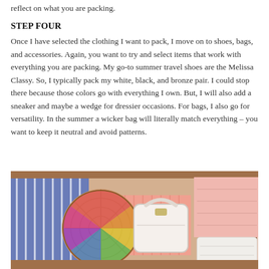reflect on what you are packing.
STEP FOUR
Once I have selected the clothing I want to pack, I move on to shoes, bags, and accessories. Again, you want to try and select items that work with everything you are packing. My go-to summer travel shoes are the Melissa Classy. So, I typically pack my white, black, and bronze pair. I could stop there because those colors go with everything I own. But, I will also add a sneaker and maybe a wedge for dressier occasions. For bags, I also go for versatility. In the summer a wicker bag will literally match everything – you want to keep it neutral and avoid patterns.
[Figure (photo): Open suitcase viewed from above containing a wicker bag, a white handbag, pink and striped clothing items, and accessories arranged neatly inside.]